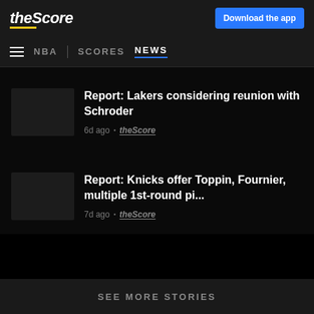theScore | Download the app
NBA | SCORES NEWS
Report: Lakers considering reunion with Schroder
6d ago · theScore
Report: Knicks offer Toppin, Fournier, multiple 1st-round pi...
7d ago · theScore
SEE MORE STORIES